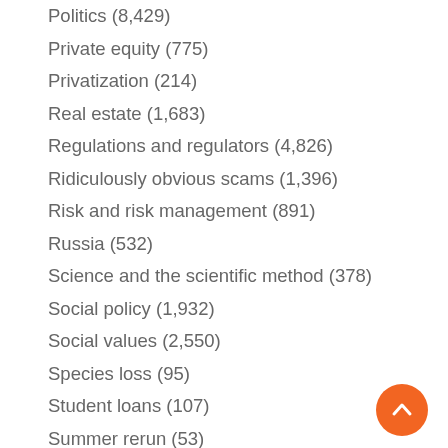Politics (8,429)
Private equity (775)
Privatization (214)
Real estate (1,683)
Regulations and regulators (4,826)
Ridiculously obvious scams (1,396)
Risk and risk management (891)
Russia (532)
Science and the scientific method (378)
Social policy (1,932)
Social values (2,550)
Species loss (95)
Student loans (107)
Summer rerun (53)
Surveillance state (279)
Taxes (522)
Technology and innovation (960)